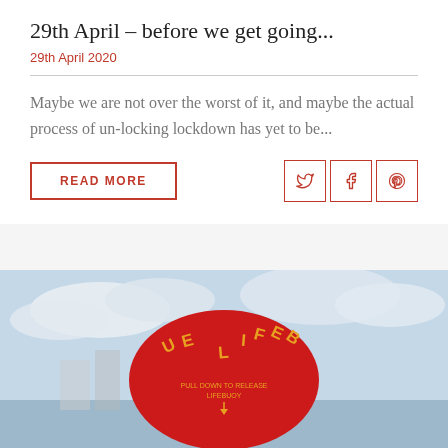29th April – before we get going...
29th April 2020
Maybe we are not over the worst of it, and maybe the actual process of un-locking lockdown has yet to be...
READ MORE
[Figure (photo): A red lifebuoy ring station box with yellow text reading LIFEBUOY and PULL DOWN TO RELEASE LIFEBUOY, with a harbour and buildings in the background under a cloudy sky.]